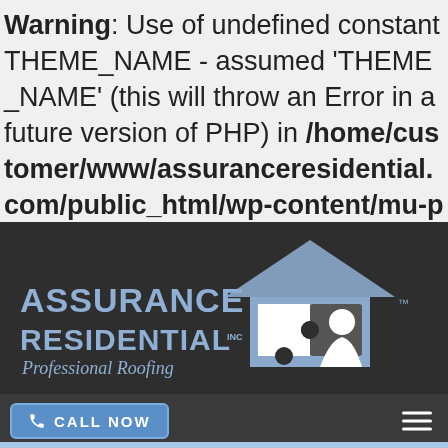Warning: Use of undefined constant THEME_NAME - assumed 'THEME_NAME' (this will throw an Error in a future version of PHP) in /home/customer/www/assuranceresidential.com/public_html/wp-content/mu-plugins/webuild-posts.php on line 19
[Figure (logo): Assurance Residential Inc Professional Roofing logo with house and puzzle piece graphic on dark background]
[Figure (screenshot): CALL NOW button with phone icon and hamburger menu icon on dark bar]